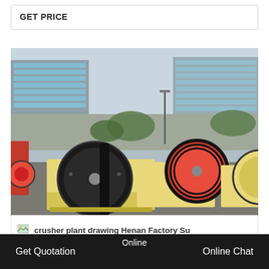GET PRICE
[Figure (photo): Photograph of multiple jaw crusher machines (yellow and black) lined up in an outdoor factory yard. Buildings with glass facades visible in background. Machines have large black belt-drive flywheels.]
crusher plant drawing Henan Factory Su
Online  Get Quotation  Online Chat